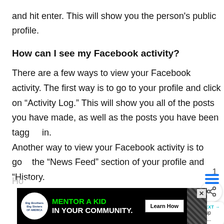and hit enter. This will show you the person's public profile.
How can I see my Facebook activity?
There are a few ways to view your Facebook activity. The first way is to go to your profile and click on “Activity Log.” This will show you all of the posts you have made, as well as the posts you have been tagged in. Another way to view your Facebook activity is to go to the “News Feed” section of your profile and click “History.
[Figure (screenshot): UI overlay: like button (heart icon, blue circle), like count showing 1, share button (share icon, white circle), and What's Next widget with circle-B icon and text 'WHAT’S NEXT → how to setup email on Ig...']
[Figure (screenshot): Advertisement banner at bottom: Big Brothers Big Sisters logo, green text 'MENTOR A KID' and white text 'IN YOUR COMMUNITY.', Learn How button, decorative diagonal stripe pattern, close X button]